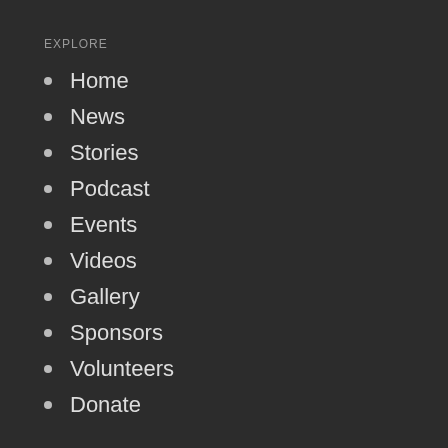EXPLORE
Home
News
Stories
Podcast
Events
Videos
Gallery
Sponsors
Volunteers
Donate
GIVE
“In memory of” Donation
General Donation